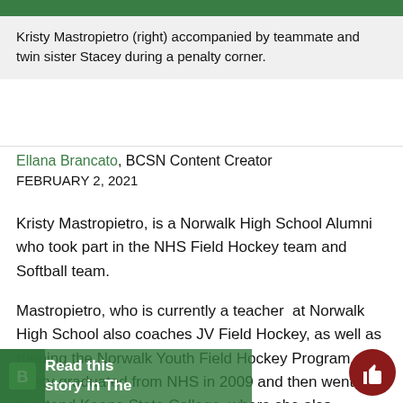[Figure (photo): Green field hockey game photo at top of page]
Kristy Mastropietro (right) accompanied by teammate and twin sister Stacey during a penalty corner.
Ellana Brancato, BCSN Content Creator
FEBRUARY 2, 2021
Kristy Mastropietro, is a Norwalk High School Alumni who took part in the NHS Field Hockey team and Softball team.
Mastropietro, who is currently a teacher  at Norwalk High School also coaches JV Field Hockey, as well as running the Norwalk Youth Field Hockey Program. Kristy graduated from NHS in 2009 and then went off to attend Keene State College, where she also continued to play Field Hockey for 2 years due to an injury. During her years in high school, Kristy was an intelligent student. She played Varsity Field Hockey under Coach Seaburg for 3 years and Softball for 4 years becoming captain for both sports her senior year.